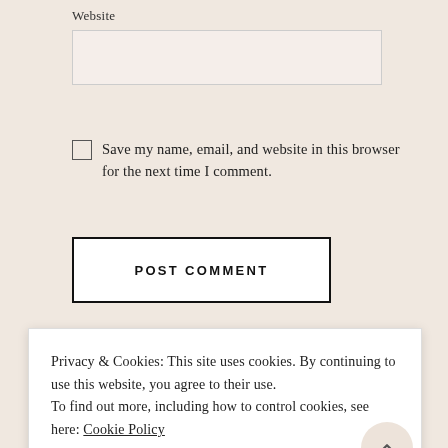Website
Save my name, email, and website in this browser for the next time I comment.
POST COMMENT
Notify me of new comments via email
Privacy & Cookies: This site uses cookies. By continuing to use this website, you agree to their use. To find out more, including how to control cookies, see here: Cookie Policy
CLOSE AND ACCEPT